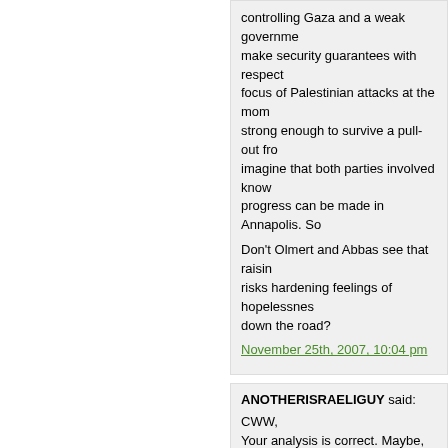controlling Gaza and a weak government make security guarantees with respect to focus of Palestinian attacks at the moment strong enough to survive a pull-out from imagine that both parties involved know progress can be made in Annapolis. So
Don't Olmert and Abbas see that raising risks hardening feelings of hopelessness down the road?
November 25th, 2007, 10:04 pm
ANOTHERISRAELIGUY said:
CWW, Your analysis is correct. Maybe, just may if he brings it to a national referendum r put forward the agreement and call a ge on the proposed agreement. This is wha reignite Kadima (his party) and block Ne topic from security and the government much less popular in Israel and it is unli
November 25th, 2007, 10:35 pm
WHY-DISCUSS said:
Bush is a risk taker.. with the results we have much choices than to follow the U. region will get a real blow in case of fail